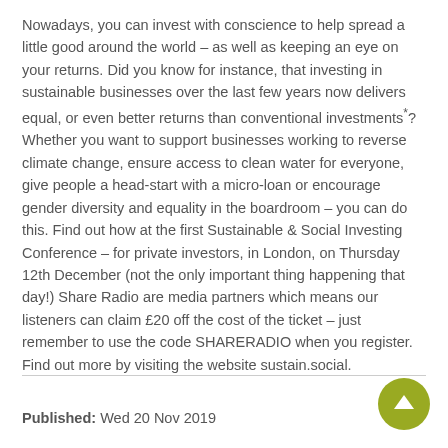Nowadays, you can invest with conscience to help spread a little good around the world – as well as keeping an eye on your returns. Did you know for instance, that investing in sustainable businesses over the last few years now delivers equal, or even better returns than conventional investments*? Whether you want to support businesses working to reverse climate change, ensure access to clean water for everyone, give people a head-start with a micro-loan or encourage gender diversity and equality in the boardroom – you can do this. Find out how at the first Sustainable & Social Investing Conference – for private investors, in London, on Thursday 12th December (not the only important thing happening that day!) Share Radio are media partners which means our listeners can claim £20 off the cost of the ticket – just remember to use the code SHARERADIO when you register. Find out more by visiting the website sustain.social.
Published: Wed 20 Nov 2019